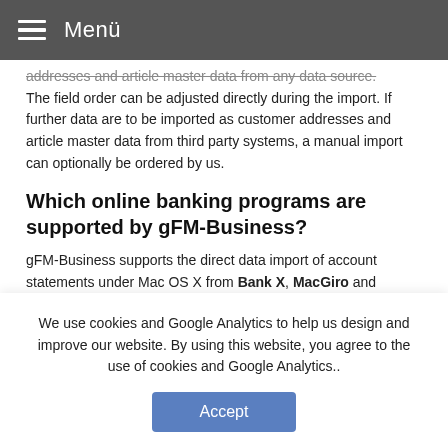≡ Menü
addresses and article master data from any data source. The field order can be adjusted directly during the import. If further data are to be imported as customer addresses and article master data from third party systems, a manual import can optionally be ordered by us.
Which online banking programs are supported by gFM-Business?
gFM-Business supports the direct data import of account statements under Mac OS X from Bank X, MacGiro and
We use cookies and Google Analytics to help us design and improve our website. By using this website, you agree to the use of cookies and Google Analytics..
Accept